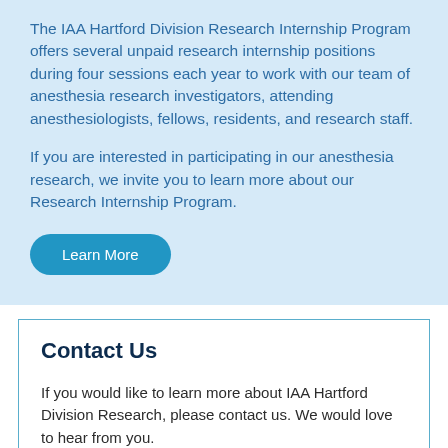The IAA Hartford Division Research Internship Program offers several unpaid research internship positions during four sessions each year to work with our team of anesthesia research investigators, attending anesthesiologists, fellows, residents, and research staff.
If you are interested in participating in our anesthesia research, we invite you to learn more about our Research Internship Program.
Learn More
Contact Us
If you would like to learn more about IAA Hartford Division Research, please contact us. We would love to hear from you.